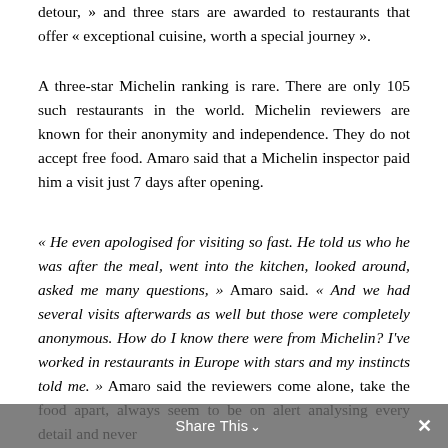detour, » and three stars are awarded to restaurants that offer « exceptional cuisine, worth a special journey ».
A three-star Michelin ranking is rare. There are only 105 such restaurants in the world. Michelin reviewers are known for their anonymity and independence. They do not accept free food. Amaro said that a Michelin inspector paid him a visit just 7 days after opening.
« He even apologised for visiting so fast. He told us who he was after the meal, went into the kitchen, looked around, asked me many questions, » Amaro said. « And we had several visits afterwards as well but those were completely anonymous. How do I know there were from Michelin? I've worked in restaurants in Europe with stars and my instincts told me. » Amaro said the reviewers come alone, take the food apart, always seem to be on alert analysing every detail and never
Share This ∨  ✕